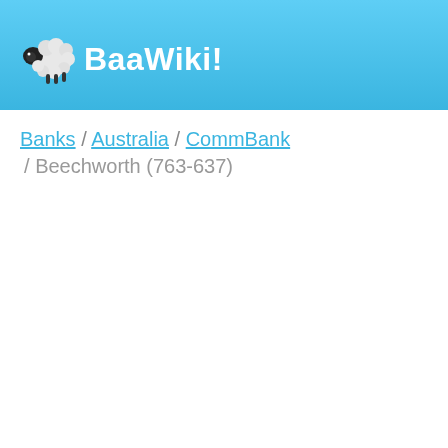BaaWiki!
Banks / Australia / CommBank / Beechworth (763-637)